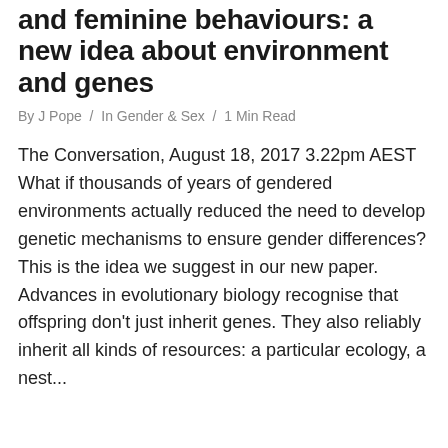and feminine behaviours: a new idea about environment and genes
By J Pope  /  In Gender & Sex  /  1 Min Read
The Conversation, August 18, 2017 3.22pm AEST What if thousands of years of gendered environments actually reduced the need to develop genetic mechanisms to ensure gender differences? This is the idea we suggest in our new paper. Advances in evolutionary biology recognise that offspring don't just inherit genes. They also reliably inherit all kinds of resources: a particular ecology, a nest...